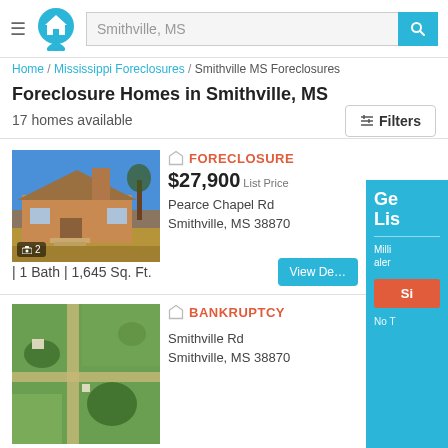[Figure (screenshot): Real estate website header with hamburger menu, house logo icon, search bar showing 'Smithville, MS', and teal search button with magnifying glass icon]
Home / Mississippi Foreclosures / Smithville MS Foreclosures
Foreclosure Homes in Smithville, MS
17 homes available
Filters
[Figure (photo): Photo of a brick ranch-style house with a chimney, under a blue sky, with dry grass in the foreground. Photo count badge shows camera icon and '2'.]
FORECLOSURE
$27,900 List Price
Pearce Chapel Rd
Smithville, MS 38870
| 1 Bath | 1,645 Sq. Ft.
View De...
[Figure (photo): Aerial/satellite view of a property showing green fields, trees, and a road intersection]
BANKRUPTCY
Smithville Rd
Smithville, MS 38870